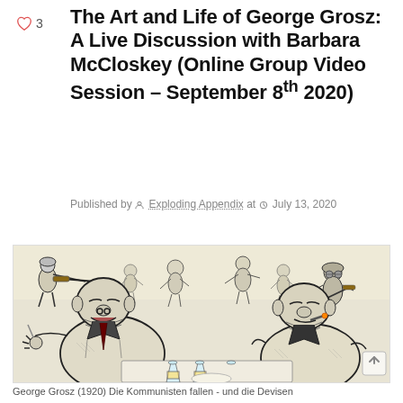The Art and Life of George Grosz: A Live Discussion with Barbara McCloskey (Online Group Video Session – September 8th 2020)
Published by Exploding Appendix at July 13, 2020
[Figure (illustration): George Grosz (1920) drawing showing caricatured figures in a chaotic scene: two rotund bourgeois men dining in the foreground, with soldiers and chaotic crowd scenes in the background, rendered in black ink line art on a pale yellowish background.]
George Grosz (1920) Die Kommunisten fallen - und die Devisen